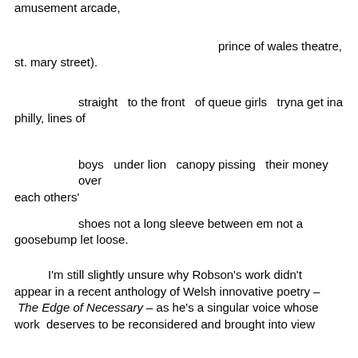amusement arcade,
prince of wales theatre,
st. mary street).
straight  to the front  of queue girls  tryna get ina philly, lines of
boys  under lion  canopy pissing  their money  over each others'
shoes not a long sleeve between em not a goosebump let loose.
I'm still slightly unsure why Robson's work didn't appear in a recent anthology of Welsh innovative poetry – The Edge of Necessary – as he's a singular voice whose work  deserves to be reconsidered and brought into view